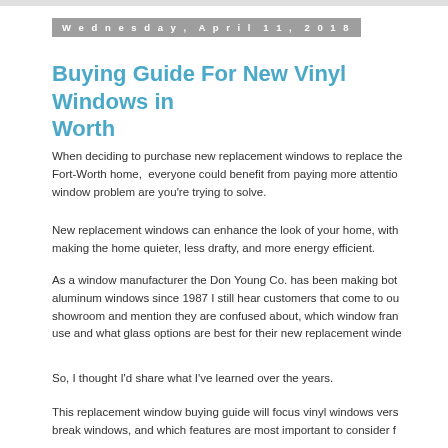Wednesday, April 11, 2018
Buying Guide For New Vinyl Windows in Fort Worth
When deciding to purchase new replacement windows to replace the Fort-Worth home,  everyone could benefit from paying more attention window problem are you're trying to solve.
New replacement windows can enhance the look of your home, with making the home quieter, less drafty, and more energy efficient.
As a window manufacturer the Don Young Co. has been making both aluminum windows since 1987 I still hear customers that come to our showroom and mention they are confused about, which window frame use and what glass options are best for their new replacement windows.
So, I thought I'd share what I've learned over the years.
This replacement window buying guide will focus vinyl windows versus break windows, and which features are most important to consider for